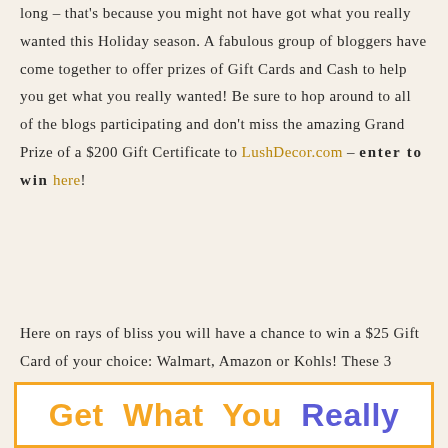long – that's because you might not have got what you really wanted this Holiday season. A fabulous group of bloggers have come together to offer prizes of Gift Cards and Cash to help you get what you really wanted! Be sure to hop around to all of the blogs participating and don't miss the amazing Grand Prize of a $200 Gift Certificate to LushDecor.com – enter to win here!
Here on rays of bliss you will have a chance to win a $25 Gift Card of your choice: Walmart, Amazon or Kohls!  These 3 stores because they are the 3 I mostly shop at!
[Figure (illustration): Banner with orange border showing colorful text 'Get What You Really' in orange and purple letters]